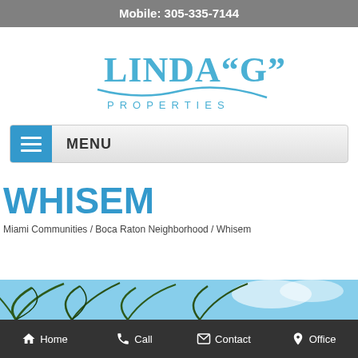Mobile: 305-335-7144
[Figure (logo): Linda G Properties logo with stylized water wave graphic in blue]
MENU
WHISEM
Miami Communities / Boca Raton Neighborhood / Whisem
[Figure (photo): Partial photo of palm trees against blue sky]
Home  Call  Contact  Office